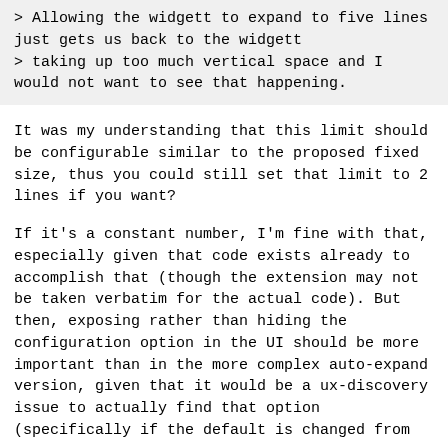> Allowing the widgett to expand to five lines just gets us back to the widgett
> taking up too much vertical space and I would not want to see that happening.
It was my understanding that this limit should be configurable similar to the proposed fixed size, thus you could still set that limit to 2 lines if you want?
If it's a constant number, I'm fine with that, especially given that code exists already to accomplish that (though the extension may not be taken verbatim for the actual code). But then, exposing rather than hiding the configuration option in the UI should be more important than in the more complex auto-expand version, given that it would be a ux-discovery issue to actually find that option (specifically if the default is changed from